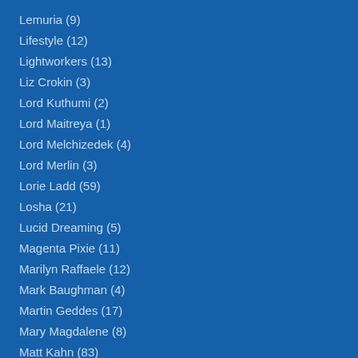Lemuria (9)
Lifestyle (12)
Lightworkers (13)
Liz Crokin (3)
Lord Kuthumi (2)
Lord Maitreya (1)
Lord Melchizedek (4)
Lord Merlin (3)
Lorie Ladd (59)
Losha (21)
Lucid Dreaming (5)
Magenta Pixie (11)
Marilyn Raffaele (12)
Mark Baughman (4)
Martin Geddes (17)
Mary Magdalene (8)
Matt Kahn (83)
Matthew (62)